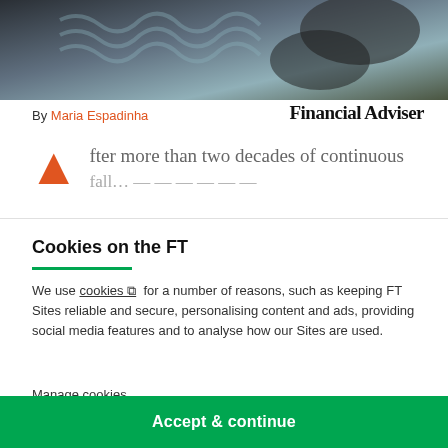[Figure (photo): Partial photo of a person wearing a knitted sweater, cropped at top of page]
By Maria Espadinha
Financial Adviser
After more than two decades of continuous fall... (text partially visible behind cookie overlay)
Cookies on the FT
We use cookies ⧉ for a number of reasons, such as keeping FT Sites reliable and secure, personalising content and ads, providing social media features and to analyse how our Sites are used.
Manage cookies